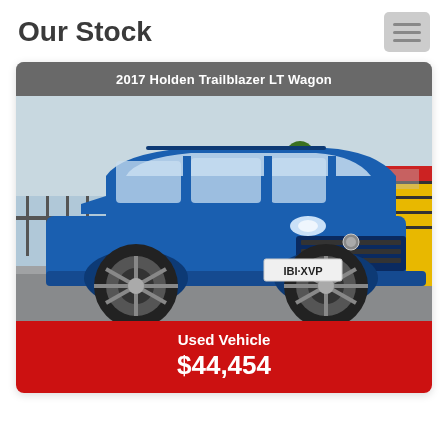Our Stock
[Figure (photo): 2017 Holden Trailblazer LT Wagon — blue SUV photographed in a parking area with industrial buildings in the background. License plate reads IBI·XVP.]
2017 Holden Trailblazer LT Wagon
Used Vehicle
$44,454